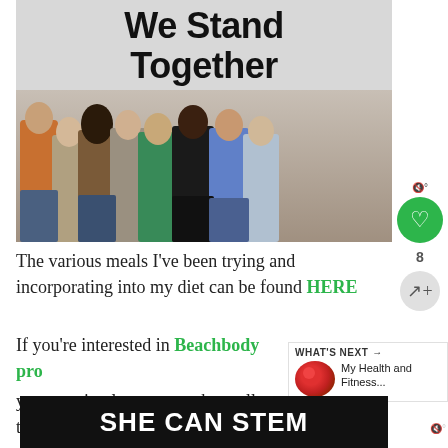[Figure (photo): Group of people standing with arms around each other, seen from behind, with text 'We Stand Together' at the top]
The various meals I've been trying and incorporating into my diet can be found HERE
If you're interested in Beachbody pro you can sign learn more about all their best
[Figure (photo): WHAT'S NEXT panel with food thumbnail: My Health and Fitness...]
[Figure (infographic): SHE CAN STEM advertisement banner]